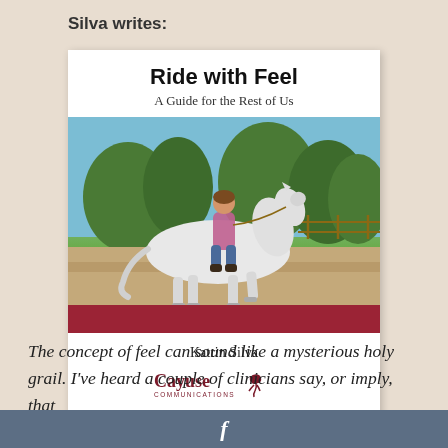Silva writes:
[Figure (photo): Book cover of 'Ride with Feel: A Guide for the Rest of Us' by Katrin Silva, published by Cayuse Communications. Features a photo of a woman riding a white horse in an outdoor arena with trees in the background. White cover with bold title, red bar near bottom, and author name.]
The concept of feel can sound like a mysterious holy grail. I've heard a couple of clinicians say, or imply, that
f